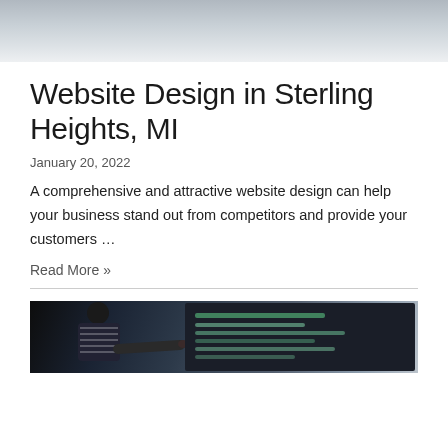[Figure (photo): Top portion of a photo showing a light-colored workspace or desk scene, partially cropped]
Website Design in Sterling Heights, MI
January 20, 2022
A comprehensive and attractive website design can help your business stand out from competitors and provide your customers ...
Read More »
[Figure (photo): Bottom portion showing a person in a striped shirt pointing at a dark screen with code or text on it]